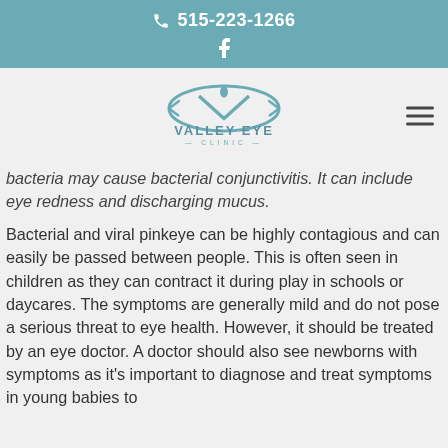📞 515-223-1266
[Figure (logo): Valley Eye Clinic logo — stylized eye with V shape and water drop, text reads VALLEY EYE CLINIC]
bacteria may cause bacterial conjunctivitis. It can include eye redness and discharging mucus.
Bacterial and viral pinkeye can be highly contagious and can easily be passed between people. This is often seen in children as they can contract it during play in schools or daycares. The symptoms are generally mild and do not pose a serious threat to eye health. However, it should be treated by an eye doctor. A doctor should also see newborns with symptoms as it's important to diagnose and treat symptoms in young babies to